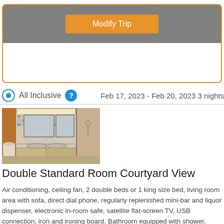[Figure (screenshot): Gray bar with orange 'Modify Trip' button inside an orange-bordered rounded rectangle]
All Inclusive  ?   Feb 17, 2023 - Feb 20, 2023 3 nights
[Figure (photo): Hotel bathroom with double sink, mirror, mosaic tile wall, and shower area]
Double Standard Room Courtyard View
Air conditioning, ceiling fan, 2 double beds or 1 king size bed, living room area with sofa, direct dial phone, regularly replenished mini-bar and liquor dispenser, electronic in-room safe, satellite flat-screen TV, USB connection, iron and ironing board. Bathroom equipped with shower, double-sink, hairdryer and bathrobe. Free wifi service available in room.